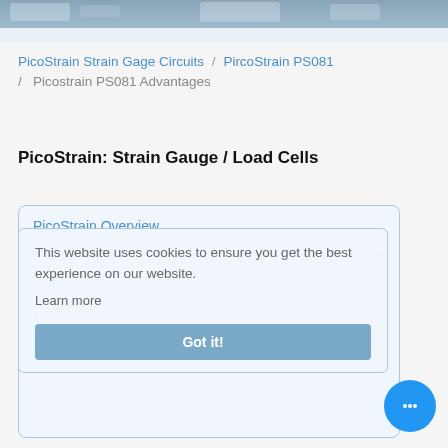[Figure (photo): Banner image at top of webpage, snowy/industrial scene, partially cropped]
PicoStrain Strain Gage Circuits / PircoStrain PS081 / Picostrain PS081 Advantages
PicoStrain: Strain Gauge / Load Cells
PicoStrain Overview
PS069
PS081
PS021
This website uses cookies to ensure you get the best experience on our website. Learn more